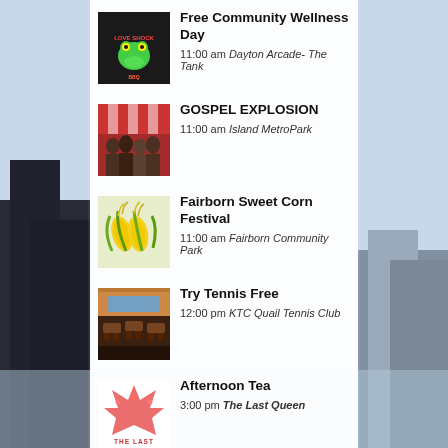Free Community Wellness Day — 11:00 am Dayton Arcade- The Tank
GOSPEL EXPLOSION — 11:00 am Island MetroPark
Fairborn Sweet Corn Festival — 11:00 am Fairborn Community Park
Try Tennis Free — 12:00 pm KTC Quail Tennis Club
Afternoon Tea — 3:00 pm The Last Queen